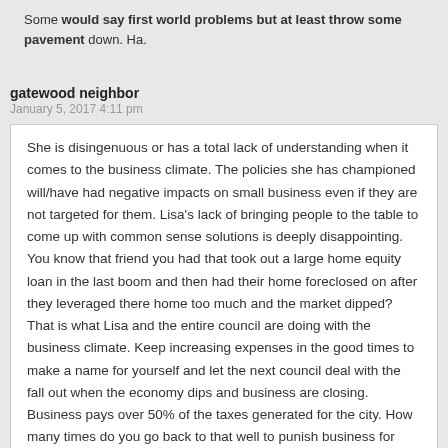Some would say first world problems but at least throw some pavement down.  Ha.
gatewood neighbor
January 5, 2017 4:11 pm
She is disingenuous or has a total lack of understanding when it comes to the business climate.  The policies she has championed will/have had negative impacts on small business even if they are not targeted for them.  Lisa's lack of bringing people to the table to come up with common sense solutions is deeply disappointing.  You know that friend you had that took out a large home equity loan in the last boom and then had their home foreclosed on after they leveraged there home too much and the market dipped?  That is what Lisa and the entire council are doing with the business climate.  Keep increasing expenses in the good times to make a name for yourself and let the next council deal with the fall out when the economy dips and business are closing.  Business pays over 50% of the taxes generated for the city.  How many times do you go back to that well to punish business for creating jobs?  Can you imagine how poorly represented  you would feel if you were a business owner and a property owner?  How much can the